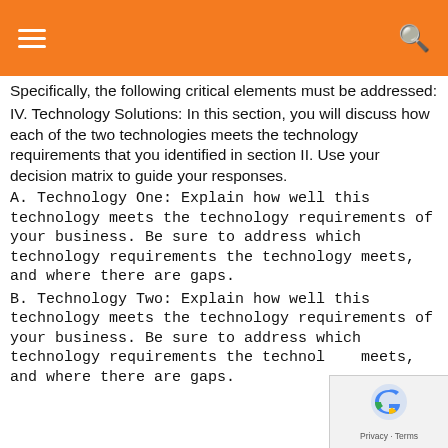Specifically, the following critical elements must be addressed:
IV. Technology Solutions: In this section, you will discuss how each of the two technologies meets the technology requirements that you identified in section II. Use your decision matrix to guide your responses.
A. Technology One: Explain how well this technology meets the technology requirements of your business. Be sure to address which technology requirements the technology meets, and where there are gaps.
B. Technology Two: Explain how well this technology meets the technology requirements of your business. Be sure to address which technology requirements the technology meets, and where there are gaps.